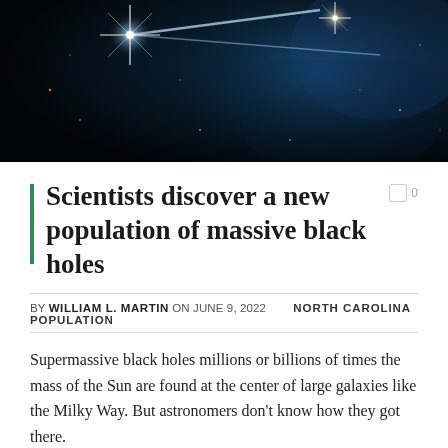[Figure (photo): Space/astronomical image showing bright stars with diffraction spikes and cosmic jets or light streams against a dark background with blue nebula colors]
Scientists discover a new population of massive black holes
BY WILLIAM L. MARTIN ON JUNE 9, 2022   NORTH CAROLINA POPULATION
Supermassive black holes millions or billions of times the mass of the Sun are found at the center of large galaxies like the Milky Way. But astronomers don't know how they got there.
They know, however, that galaxies grow by merging. One theory for the formation of these massive black holes is that the early universe was filled with dwarf galaxies with smaller so-called intermediate-mass (IMBH; hundreds to thousands of solar mass) black holes that were...